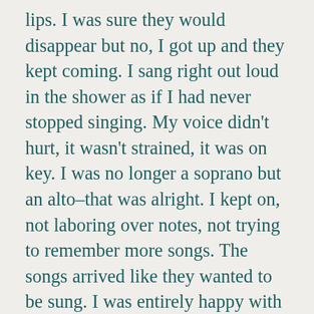lips. I was sure they would disappear but no, I got up and they kept coming. I sang right out loud in the shower as if I had never stopped singing. My voice didn't hurt, it wasn't strained, it was on key. I was no longer a soprano but an alto–that was alright. I kept on, not laboring over notes, not trying to remember more songs. The songs arrived like they wanted to be sung. I was entirely happy with this, to have so much music rise up and be freed. To know it deeply again, to feel that rumble of air, recognize notes intimately as they swirled about and rose from my innermost being and then–that sharing of light and life. Oh, Lord. That perfect melding of heart, mind, body and soul given sound! And I knew I was